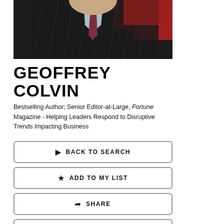[Figure (photo): Photo of Geoffrey Colvin in a dark pinstripe suit with a red tie, cropped at chest level against a dark background.]
GEOFFREY COLVIN
Bestselling Author; Senior Editor-at-Large, Fortune Magazine - Helping Leaders Respond to Disruptive Trends Impacting Business
BACK TO SEARCH
ADD TO MY LIST
SHARE
PRINT